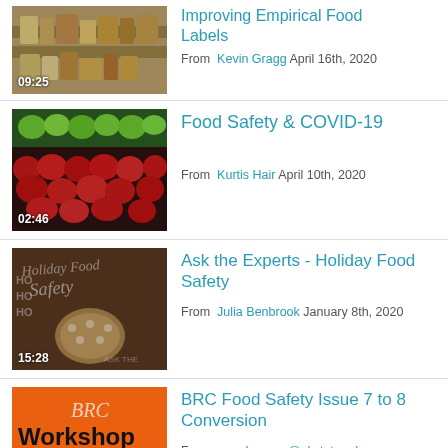[Figure (screenshot): Video thumbnail showing food items on shelves, duration 09:25]
Improving Empirical Food Labels
From Kevin Gragg April 16th, 2020
[Figure (screenshot): Video thumbnail showing fresh produce (apples, limes), duration 02:46]
Food Safety & COVID-19
From Kurtis Hair April 10th, 2020
[Figure (screenshot): Video thumbnail showing Holiday Food Safety with cookies, duration 15:28]
Ask the Experts - Holiday Food Safety
From Julia Benbrook January 8th, 2020
[Figure (screenshot): Video thumbnail showing BRC Workshop orange background, duration 00:45]
BRC Food Safety Issue 7 to 8 Conversion
From mandy.gross@okstate.edu January 30th, 2019